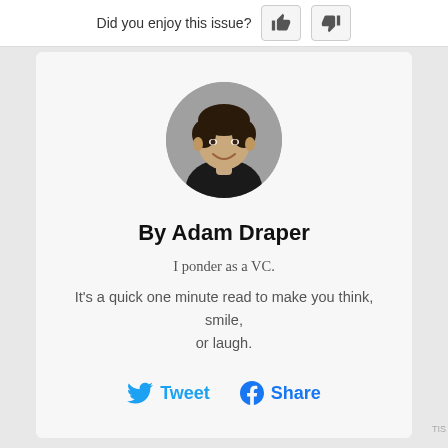Did you enjoy this issue?
[Figure (photo): Circular profile photo of Adam Draper, a young man with dark hair, smiling, wearing a dark jacket, on a grey background.]
By Adam Draper
I ponder as a VC.
It's a quick one minute read to make you think, smile, or laugh.
[Figure (infographic): Tweet and Share social buttons with Twitter bird icon and Facebook f icon in blue.]